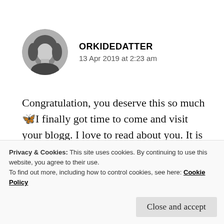[Figure (photo): Circular profile photo of a young woman with light hair, black and white photo]
ORKIDEDATTER
13 Apr 2019 at 2:23 am
Congratulation, you deserve this so much🦋I finally got time to come and visit your blogg. I love to read about you. It is very nice to get to know you a little bit more🦋
Thank you. You make me smile too❤
Privacy & Cookies: This site uses cookies. By continuing to use this website, you agree to their use.
To find out more, including how to control cookies, see here: Cookie Policy
Close and accept